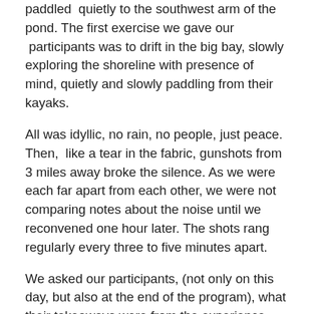paddled quietly to the southwest arm of the pond. The first exercise we gave our participants was to drift in the big bay, slowly exploring the shoreline with presence of mind, quietly and slowly paddling from their kayaks.
All was idyllic, no rain, no people, just peace. Then, like a tear in the fabric, gunshots from 3 miles away broke the silence. As we were each far apart from each other, we were not comparing notes about the noise until we reconvened one hour later. The shots rang regularly every three to five minutes apart.
We asked our participants, (not only on this day, but also at the end of the program), what their takeaways were from the experience. My co-facilitator, Tara Moon, shared that “the gun shots were” for her, “like punctuation marks, reminders to stay present” . Unlike her, my first reaction